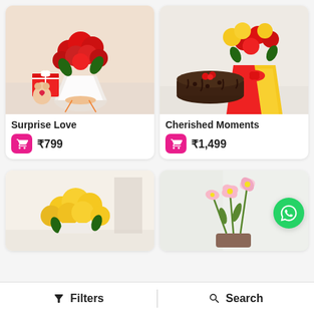[Figure (photo): Product card: Surprise Love - red carnation bouquet with teddy bear and gift box]
Surprise Love
₹799
[Figure (photo): Product card: Cherished Moments - red and yellow rose bouquet with chocolate cake]
Cherished Moments
₹1,499
[Figure (photo): Partial product card: yellow roses bouquet]
[Figure (photo): Partial product card: lily flowers arrangement]
Filters
Search